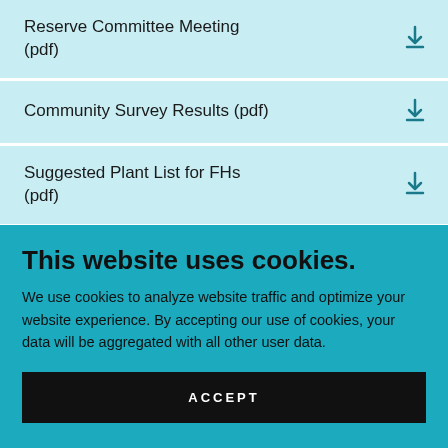Reserve Committee Meeting (pdf)
Community Survey Results (pdf)
Suggested Plant List for FHs (pdf)
This website uses cookies.
We use cookies to analyze website traffic and optimize your website experience. By accepting our use of cookies, your data will be aggregated with all other user data.
ACCEPT